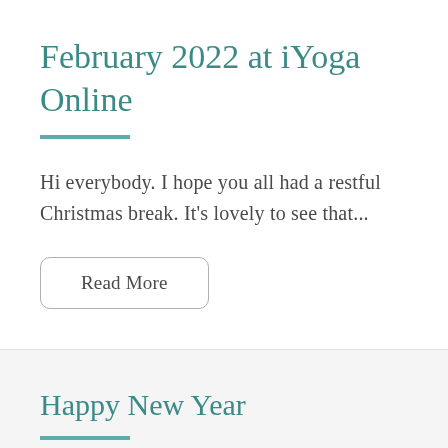February 2022 at iYoga Online
Hi everybody. I hope you all had a restful Christmas break. It's lovely to see that...
Read More
Happy New Year